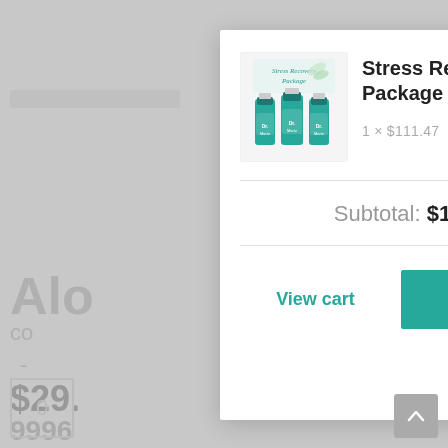[Figure (screenshot): E-commerce shopping cart modal overlay on a dimmed product page background. The modal shows a Stress Recovery Package product with supplement bottle image, quantity and price (1 × $111.47), subtotal of $111.47, and two action buttons: View cart and Checkout.]
Stress Recovery Package
1 × $111.47
Subtotal: $111.47
View cart
Checkout